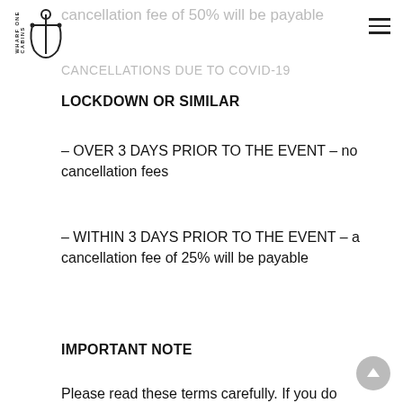[Figure (logo): Wharf One Cabins logo with anchor icon and vertical text]
cancellation fee of 50% will be payable
CANCELLATIONS DUE TO COVID-19
LOCKDOWN OR SIMILAR
– OVER 3 DAYS PRIOR TO THE EVENT – no cancellation fees
– WITHIN 3 DAYS PRIOR TO THE EVENT – a cancellation fee of 25% will be payable
IMPORTANT NOTE
Please read these terms carefully. If you do